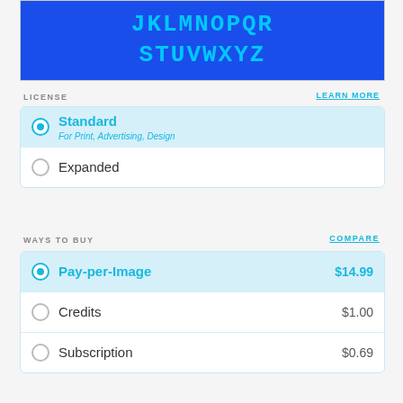[Figure (illustration): Blue rectangle showing a font preview with cyan/light blue pixelated letters 'JKLMNOPQR STUVWXYZ' on a royal blue background]
LICENSE
LEARN MORE
Standard - For Print, Advertising, Design (selected)
Expanded
WAYS TO BUY
COMPARE
Pay-per-Image $14.99 (selected)
Credits $1.00
Subscription $0.69